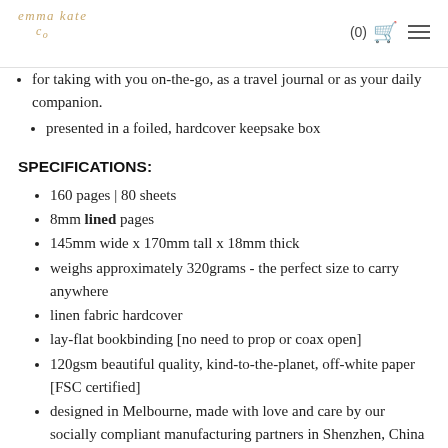emma kate co (0) [cart] [menu]
for taking with you on-the-go, as a travel journal or as your daily companion.
presented in a foiled, hardcover keepsake box
SPECIFICATIONS:
160 pages | 80 sheets
8mm lined pages
145mm wide x 170mm tall x 18mm thick
weighs approximately 320grams - the perfect size to carry anywhere
linen fabric hardcover
lay-flat bookbinding [no need to prop or coax open]
120gsm beautiful quality, kind-to-the-planet, off-white paper [FSC certified]
designed in Melbourne, made with love and care by our socially compliant manufacturing partners in Shenzhen, China